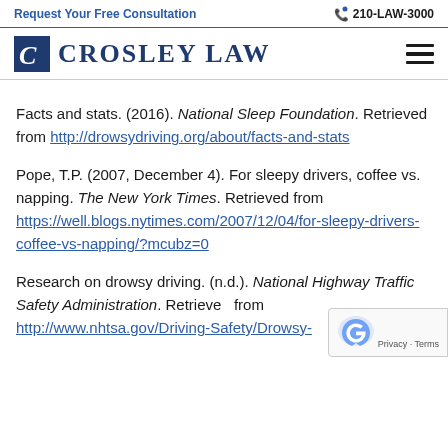Request Your Free Consultation   210-LAW-3000
[Figure (logo): Crosley Law logo with stylized C icon and text CROSLEY LAW]
Facts and stats. (2016). National Sleep Foundation. Retrieved from http://drowsydriving.org/about/facts-and-stats
Pope, T.P. (2007, December 4). For sleepy drivers, coffee vs. napping. The New York Times. Retrieved from https://well.blogs.nytimes.com/2007/12/04/for-sleepy-drivers-coffee-vs-napping/?mcubz=0
Research on drowsy driving. (n.d.). National Highway Traffic Safety Administration. Retrieved from http://www.nhtsa.gov/Driving-Safety/Drowsy-